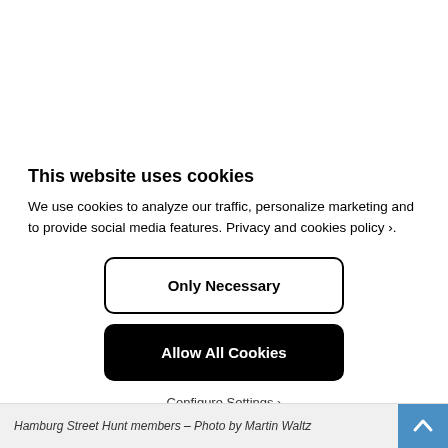This website uses cookies
We use cookies to analyze our traffic, personalize marketing and to provide social media features. Privacy and cookies policy ›.
Only Necessary
Allow All Cookies
Configure Settings ›
Hamburg Street Hunt members – Photo by Martin Waltz